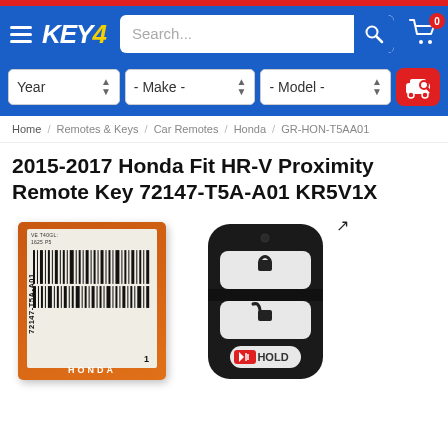[Figure (screenshot): KEY4 e-commerce website header with navigation bar, search bar, year/make/model vehicle dropdowns, breadcrumb navigation, product title, and product image showing Honda Fit HR-V Proximity Remote Key with Honda OEM label and key fob photo]
KEY4 | Search... | Year | - Make - | - Model -
Home / Remotes & Keys / Car Remotes / Honda / GR-HON-T5AA01
2015-2017 Honda Fit HR-V Proximity Remote Key 72147-T5A-A01 KR5V1X